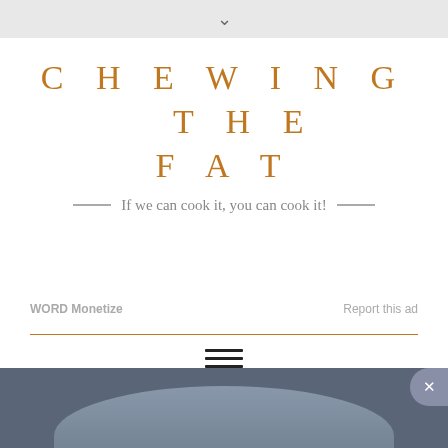v
CHEWING THE FAT
If we can cook it, you can cook it!
WORD Monetize    Report this ad
CATEGORY: ORECCHIETTE WITH BUTTERMILK
[Figure (photo): Bottom portion showing a dark blue/grey circular dish or plate image partially visible at the bottom of the page]